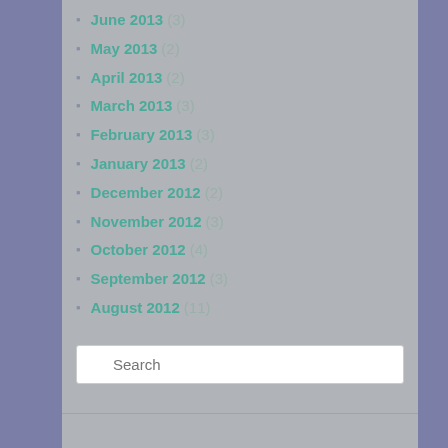June 2013 (3)
May 2013 (2)
April 2013 (2)
March 2013 (3)
February 2013 (3)
January 2013 (2)
December 2012 (2)
November 2012 (3)
October 2012 (4)
September 2012 (3)
August 2012 (11)
Search